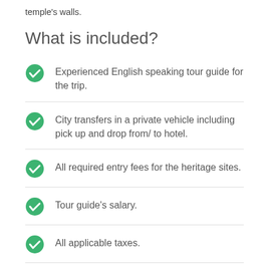temple's walls.
What is included?
Experienced English speaking tour guide for the trip.
City transfers in a private vehicle including pick up and drop from/ to hotel.
All required entry fees for the heritage sites.
Tour guide's salary.
All applicable taxes.
What is not included?
Lunch and Dinner during the tour.